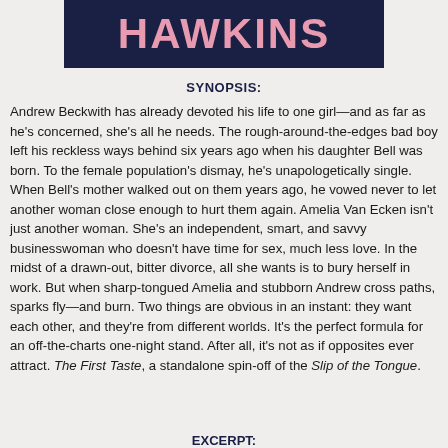[Figure (other): Dark navy banner with pink bold text reading HAWKINS]
SYNOPSIS:
Andrew Beckwith has already devoted his life to one girl—and as far as he's concerned, she's all he needs. The rough-around-the-edges bad boy left his reckless ways behind six years ago when his daughter Bell was born. To the female population's dismay, he's unapologetically single. When Bell's mother walked out on them years ago, he vowed never to let another woman close enough to hurt them again. Amelia Van Ecken isn't just another woman. She's an independent, smart, and savvy businesswoman who doesn't have time for sex, much less love. In the midst of a drawn-out, bitter divorce, all she wants is to bury herself in work. But when sharp-tongued Amelia and stubborn Andrew cross paths, sparks fly—and burn. Two things are obvious in an instant: they want each other, and they're from different worlds. It's the perfect formula for an off-the-charts one-night stand. After all, it's not as if opposites ever attract. The First Taste, a standalone spin-off of the Slip of the Tongue.
EXCERPT: